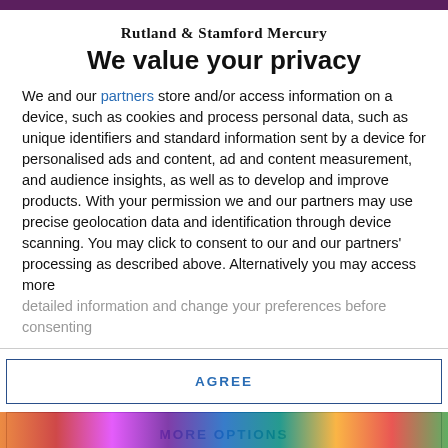Rutland & Stamford Mercury
We value your privacy
We and our partners store and/or access information on a device, such as cookies and process personal data, such as unique identifiers and standard information sent by a device for personalised ads and content, ad and content measurement, and audience insights, as well as to develop and improve products. With your permission we and our partners may use precise geolocation data and identification through device scanning. You may click to consent to our and our partners' processing as described above. Alternatively you may access more detailed information and change your preferences before consenting
AGREE
MORE OPTIONS